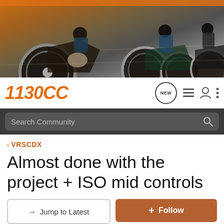[Figure (photo): Banner image showing three motorcycles riding, with an orange tinted background]
1130CC
Search Community
< VRSCDX
Almost done with the project + ISO mid controls
→ Jump to Latest
+ Follow
1 - 15 of 15 Posts